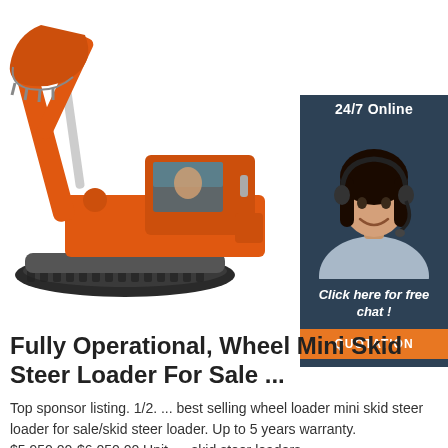[Figure (illustration): Orange tracked excavator/crawler with extended boom and bucket, white background]
[Figure (infographic): 24/7 Online chat widget with dark blue background, female customer service agent wearing headset, 'Click here for free chat!' text, and orange QUOTATION button]
Fully Operational, Wheel Mini Skid Steer Loader For Sale ...
Top sponsor listing. 1/2. ... best selling wheel loader mini skid steer loader for sale/skid steer loader. Up to 5 years warranty. $5,950.00-$6,050.00 Unit. ... skid steer loaders